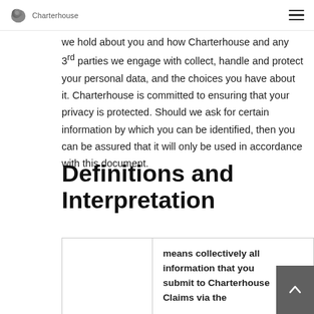[Figure (logo): Charterhouse Claims logo with bird/splash graphic and company name text, alongside a hamburger menu icon]
we hold about you and how Charterhouse and any 3rd parties we engage with collect, handle and protect your personal data, and the choices you have about it. Charterhouse is committed to ensuring that your privacy is protected. Should we ask for certain information by which you can be identified, then you can be assured that it will only be used in accordance with this document.
Definitions and Interpretation
In this Policy the following terms shall have the following meanings:
|  | means collectively all information that you submit to Charterhouse Claims via the |